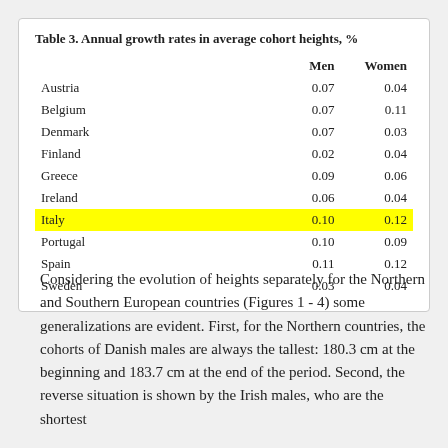|  | Men | Women |
| --- | --- | --- |
| Austria | 0.07 | 0.04 |
| Belgium | 0.07 | 0.11 |
| Denmark | 0.07 | 0.03 |
| Finland | 0.02 | 0.04 |
| Greece | 0.09 | 0.06 |
| Ireland | 0.06 | 0.04 |
| Italy | 0.10 | 0.12 |
| Portugal | 0.10 | 0.09 |
| Spain | 0.11 | 0.12 |
| Sweden | 0.03 | 0.04 |
Considering the evolution of heights separately for the Northern and Southern European countries (Figures 1 - 4) some generalizations are evident. First, for the Northern countries, the cohorts of Danish males are always the tallest: 180.3 cm at the beginning and 183.7 cm at the end of the period. Second, the reverse situation is shown by the Irish males, who are the shortest